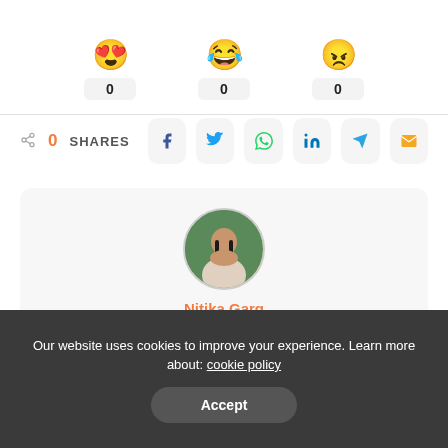[Figure (other): Emoji reaction row with three emoji faces (happy/love, laughing/crying, angry) each showing a count of 0 in a rounded box]
0   SHARES with social share buttons: Facebook, Twitter, WhatsApp, LinkedIn, Telegram, Email
[Figure (photo): Circular author profile photo of Nitika Garg]
Nitika Garg
View More Posts
Entrepreneur | Senior Content Writer | Technical Writer | Startup
Our website uses cookies to improve your experience. Learn more about: cookie policy
Accept